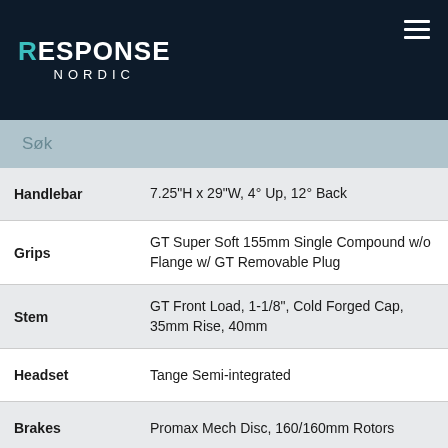RESPONSE NORDIC
| Component | Specification |
| --- | --- |
| Handlebar | 7.25"H x 29"W, 4° Up, 12° Back |
| Grips | GT Super Soft 155mm Single Compound w/o Flange w/ GT Removable Plug |
| Stem | GT Front Load, 1-1/8", Cold Forged Cap, 35mm Rise, 40mm |
| Headset | Tange Semi-integrated |
| Brakes | Promax Mech Disc, 160/160mm Rotors |
| Brake Levers | Alloy, 2 Finger |
| Saddle | GT Cheat Code Railed |
| Seatpost | Alloy Micro Adjust 27.2 x 350mm |